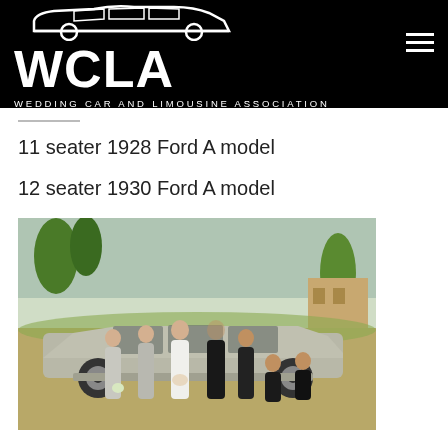[Figure (logo): WCLA Wedding Car and Limousine Association logo — white text and car silhouette on black background, with hamburger menu icon top right]
11 seater 1928 Ford A model
12 seater 1930 Ford A model
[Figure (photo): Wedding party of approximately 8 people standing in front of a vintage Ford A model limousine, outdoors with trees and a building in background]